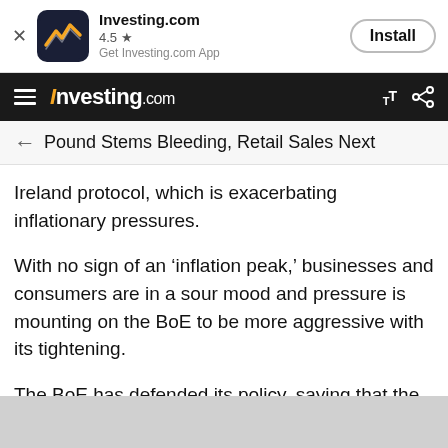[Figure (screenshot): Investing.com app install banner with icon, rating 4.5 stars, and Install button]
Investing.com
Pound Stems Bleeding, Retail Sales Next
Ireland protocol, which is exacerbating inflationary pressures.
With no sign of an ‘inflation peak,’ businesses and consumers are in a sour mood and pressure is mounting on the BoE to be more aggressive with its tightening.
The BoE has defended its policy, saying that the Ukraine war and other factors driving inflation are beyond the